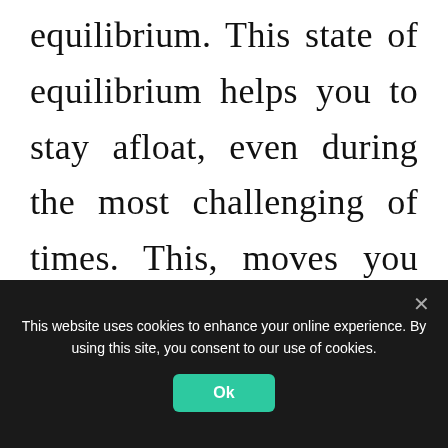equilibrium. This state of equilibrium helps you to stay afloat, even during the most challenging of times. This, moves you towards success and achieve goals.

Any person's EQ works alongside few
This website uses cookies to enhance your online experience. By using this site, you consent to our use of cookies.